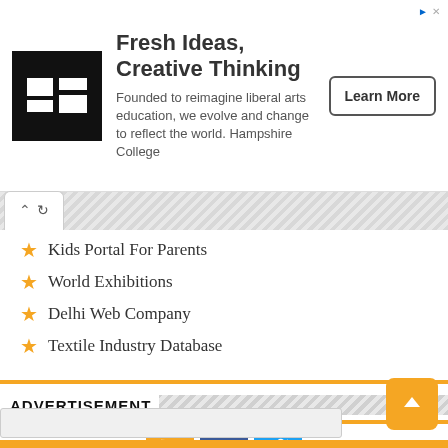[Figure (infographic): Advertisement banner for Hampshire College with logo, headline 'Fresh Ideas, Creative Thinking', body text, and Learn More button]
Kids Portal For Parents
World Exhibitions
Delhi Web Company
Textile Industry Database
ADVERTISEMENT
[Figure (infographic): Social media icons: RSS (orange), Facebook (blue), Twitter (light blue)]